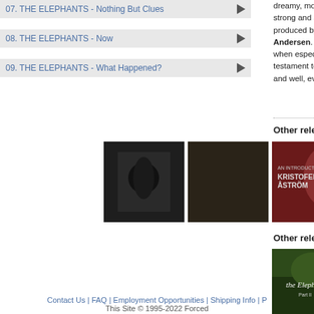07. THE ELEPHANTS - Nothing But Clues
08. THE ELEPHANTS - Now
09. THE ELEPHANTS - What Happened?
dreamy, mournful lap... strong and sad, timele... produced by the band... Andersen. Fridolin N... when especially pop m... testament to the gran... and well, even in Den...
Other releases on TAPETE
[Figure (photo): Dark album cover with a silhouette figure]
[Figure (photo): The 39 Clocks - Next Dimension Transfer album cover, two figures in sepia tones]
[Figure (photo): Kristofer Astrom - An Introduction To album cover, woman with red background]
Other releases by ELEPHA...
[Figure (photo): The Elephants album cover with green forest scene and cursive text]
Contact Us | FAQ | Employment Opportunities | Shipping Info | P...
This Site © 1995-2022 Forced